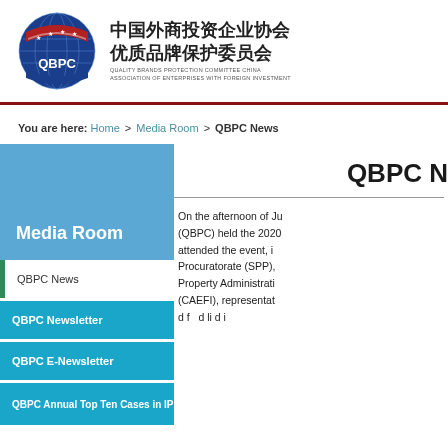[Figure (logo): QBPC logo with red and blue globe design, stars, and Chinese/English organization name: 中国外商投资企业协会 优质品牌保护委员会 / QUALITY BRANDS PROTECTION COMMITTEE CHINA ASSOCIATION OF ENTERPRISES WITH FOREIGN INVESTMENT]
You are here: Home > Media Room > QBPC News
Media Room
QBPC News
QBPC Newsletter
QBPC E-Newsletter
QBPC Annual Top Ten Cases in IP
QBPC N
On the afternoon of Ju (QBPC) held the 2020 attended the event, i Procuratorate (SPP), Property Administrati (CAEFI), representat d f d li d i